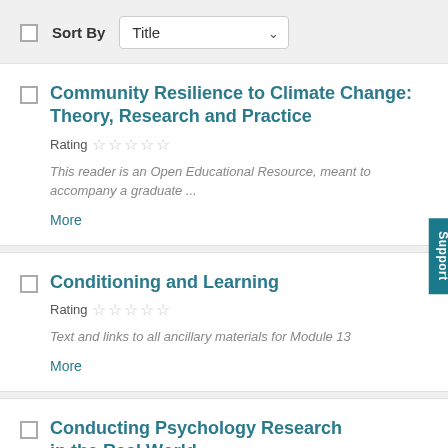Sort By  Title
Community Resilience to Climate Change: Theory, Research and Practice
Rating ☆☆☆☆☆
This reader is an Open Educational Resource, meant to accompany a graduate ...
More
Conditioning and Learning
Rating ☆☆☆☆☆
Text and links to all ancillary materials for Module 13
More
Conducting Psychology Research in the Real World...